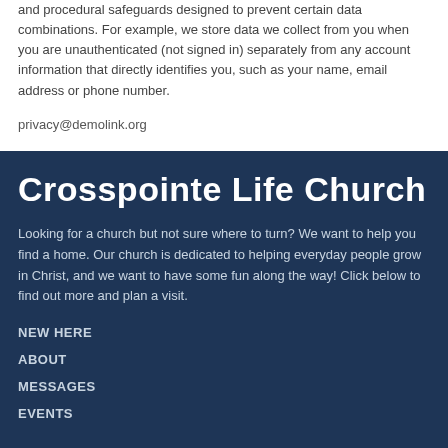and procedural safeguards designed to prevent certain data combinations. For example, we store data we collect from you when you are unauthenticated (not signed in) separately from any account information that directly identifies you, such as your name, email address or phone number.
privacy@demolink.org
Crosspointe Life Church
Looking for a church but not sure where to turn? We want to help you find a home. Our church is dedicated to helping everyday people grow in Christ, and we want to have some fun along the way! Click below to find out more and plan a visit.
NEW HERE
ABOUT
MESSAGES
EVENTS